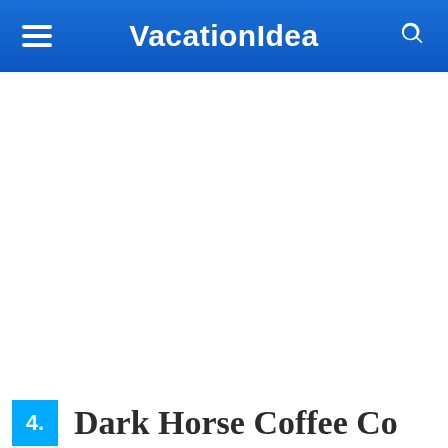VacationIdea
[Figure (photo): Large white/blank image area below the navigation header]
4. Dark Horse Coffee Co